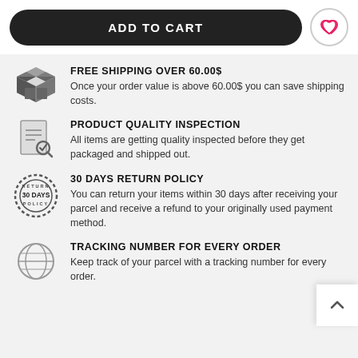ADD TO CART
FREE SHIPPING OVER 60.00$ — Once your order value is above 60.00$ you can save shipping costs.
PRODUCT QUALITY INSPECTION — All items are getting quality inspected before they get packaged and shipped out.
30 DAYS RETURN POLICY — You can return your items within 30 days after receiving your parcel and receive a refund to your originally used payment method.
TRACKING NUMBER FOR EVERY ORDER — Keep track of your parcel with a tracking number for every order.